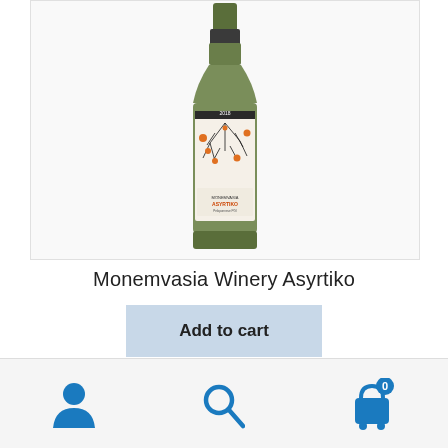[Figure (photo): A wine bottle with a white label featuring black line art of flowers/coral and orange accent flowers. The label reads 'Monemvasia Winery Asyrtiko'. The bottle has a dark green glass body.]
Monemvasia Winery Asyrtiko
Add to cart
[Figure (infographic): Bottom navigation bar with three icons: a user/person icon (blue), a search/magnifying glass icon (blue), and a shopping cart icon (blue) with a badge showing '0'.]